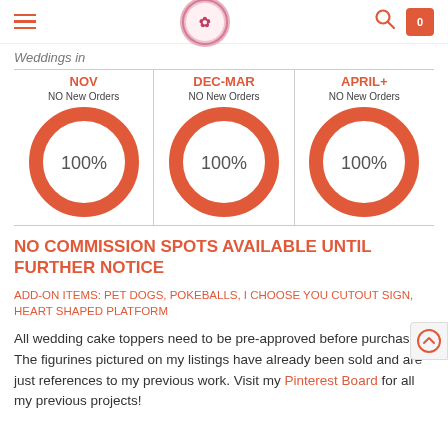Navigation header with hamburger menu, logo, search and cart icons
Weddings in
[Figure (donut-chart): NOV - NO New Orders]
[Figure (donut-chart): DEC-MAR - NO New Orders]
[Figure (donut-chart): APRIL+ - NO New Orders]
NO COMMISSION SPOTS AVAILABLE UNTIL FURTHER NOTICE
ADD-ON ITEMS: PET DOGS, POKEBALLS, I CHOOSE YOU CUTOUT SIGN, HEART SHAPED PLATFORM
All wedding cake toppers need to be pre-approved before purchase. The figurines pictured on my listings have already been sold and are just references to my previous work. Visit my Pinterest Board for all my previous projects!